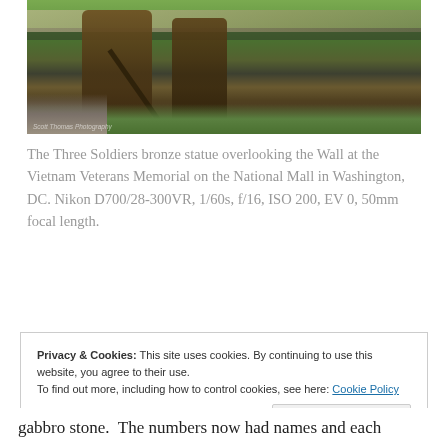[Figure (photo): Bronze statue of Three Soldiers at the Vietnam Veterans Memorial on the National Mall in Washington DC, with a crowd of visitors visible in the background near the Wall, set against green grass.]
The Three Soldiers bronze statue overlooking the Wall at the Vietnam Veterans Memorial on the National Mall in Washington, DC. Nikon D700/28-300VR, 1/60s, f/16, ISO 200, EV 0, 50mm focal length.
Privacy & Cookies: This site uses cookies. By continuing to use this website, you agree to their use.
To find out more, including how to control cookies, see here: Cookie Policy
[Close and accept]
gabbro stone.  The numbers now had names and each